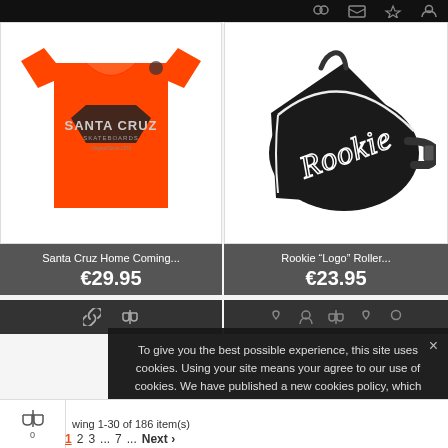[Figure (screenshot): Top dark navigation bar strip]
[Figure (photo): Orange Santa Cruz Skateboards t-shirt on white background]
Santa Cruz Home Coming...
€29.95
[Figure (photo): Black Rookie Logo roller skate bag with white cursive Rookie text and strap on white background]
Rookie "Logo" Roller...
€23.95
To give you the best possible experience, this site uses cookies. Using your site means your agree to our use of cookies. We have published a new cookies policy, which you should need to find out more about the cookies we use. View cookies policy.
Accept
wing 1-30 of 186 item(s)
1 2 3 ... 7 ... Next >